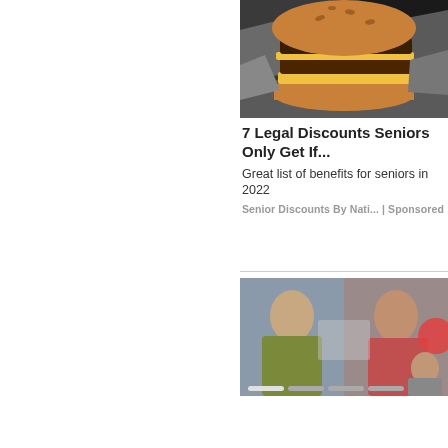[Figure (photo): A cheeseburger wrapped in foil, viewed from above at an angle, with melted cheese and a sesame bun, dark background]
7 Legal Discounts Seniors Only Get If...
Great list of benefits for seniors in 2022
Senior Discounts By Nati... | Sponsored
[Figure (screenshot): A slideshow/video thumbnail showing two women side by side — one in a yellow-green top, one in a floral pink/red scarf — with navigation dots at the bottom and a small square overlay in the center]